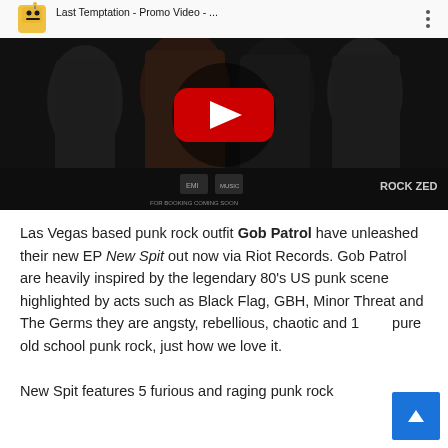[Figure (screenshot): YouTube video thumbnail for 'Last Temptation - Promo Video -...' showing four band members in dark clothing against a black background, with a red YouTube play button in the center and a robot emoji icon in the top left.]
Las Vegas based punk rock outfit Gob Patrol have unleashed their new EP New Spit out now via Riot Records. Gob Patrol are heavily inspired by the legendary 80's US punk scene highlighted by acts such as Black Flag, GBH, Minor Threat and The Germs they are angsty, rebellious, chaotic and 100% pure old school punk rock, just how we love it.

New Spit features 5 furious and raging punk rock